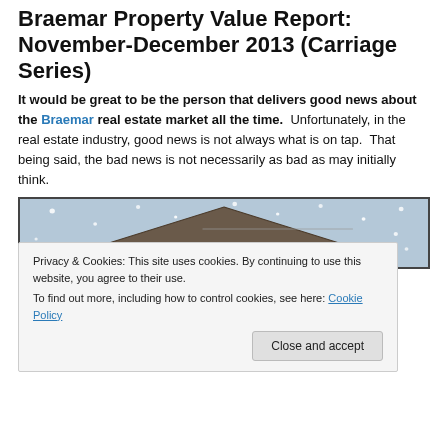Braemar Property Value Report:  November-December 2013 (Carriage Series)
It would be great to be the person that delivers good news about the Braemar real estate market all the time.  Unfortunately, in the real estate industry, good news is not always what is on tap.  That being said, the bad news is not necessarily as bad as may initially think.
[Figure (photo): Photo of a house rooftop with snow falling in winter conditions]
Privacy & Cookies: This site uses cookies. By continuing to use this website, you agree to their use.
To find out more, including how to control cookies, see here: Cookie Policy
Close and accept